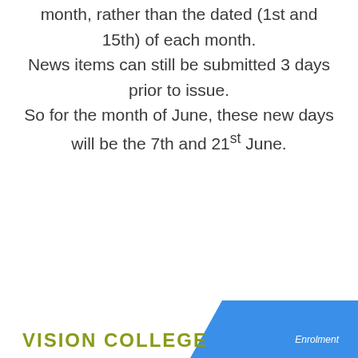month, rather than the dated (1st and 15th) of each month.
News items can still be submitted 3 days prior to issue.
So for the month of June, these new days will be the 7th and 21st June.
VISION COLLEGE